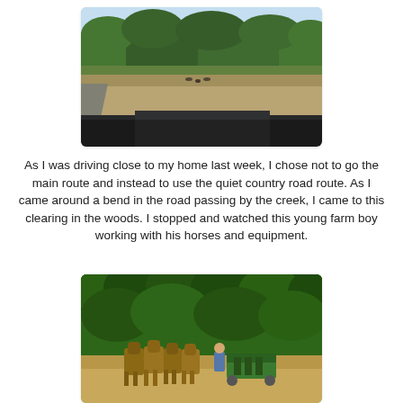[Figure (photo): View from inside a car looking out over a country field with trees in the background. A dirt road is visible on the left, dry brown field in the middle, and dark green trees along the horizon under a blue sky.]
As I was driving close to my home last week, I chose not to go the main route and instead to use the quiet country road route. As I came around a bend in the road passing by the creek, I came to this clearing in the woods. I stopped and watched this young farm boy working with his horses and equipment.
[Figure (photo): A young farm boy operating farm equipment pulled by a team of draft horses in a dirt clearing surrounded by green trees.]